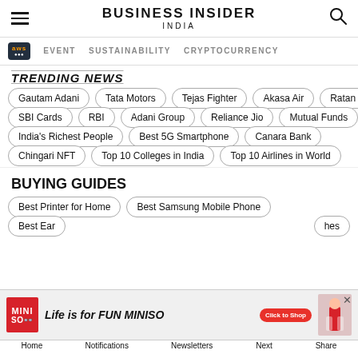BUSINESS INSIDER INDIA
EVENT  SUSTAINABILITY  CRYPTOCURRENCY
TRENDING NEWS
Gautam Adani
Tata Motors
Tejas Fighter
Akasa Air
Ratan Tata
SBI Cards
RBI
Adani Group
Reliance Jio
Mutual Funds
India's Richest People
Best 5G Smartphone
Canara Bank
Chingari NFT
Top 10 Colleges in India
Top 10 Airlines in World
BUYING GUIDES
Best Printer for Home
Best Samsung Mobile Phone
Best Earphones
[Figure (screenshot): MINISO advertisement banner: Life is for FUN MINISO with Click to Shop button]
Home  Notifications  Newsletters  Next  Share